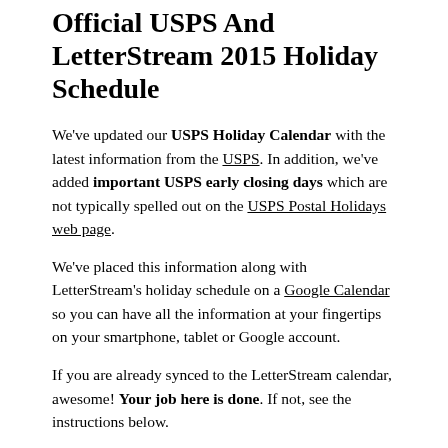Official USPS And LetterStream 2015 Holiday Schedule
We've updated our USPS Holiday Calendar with the latest information from the USPS. In addition, we've added important USPS early closing days which are not typically spelled out on the USPS Postal Holidays web page.
We've placed this information along with LetterStream's holiday schedule on a Google Calendar so you can have all the information at your fingertips on your smartphone, tablet or Google account.
If you are already synced to the LetterStream calendar, awesome! Your job here is done. If not, see the instructions below.
One more important mention; most USPS retail counters close early on both Christmas Eve and New Year's Eve, so